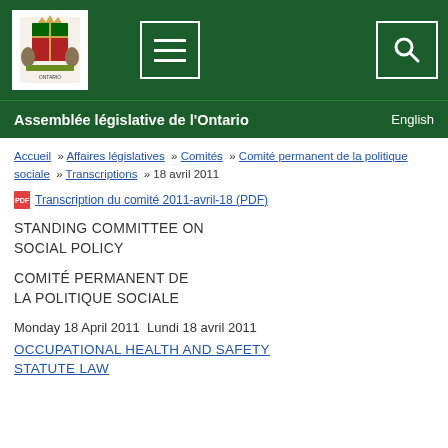[Figure (logo): Ontario Legislative Assembly coat of arms logo on green header bar with hamburger menu button and search button]
Assemblée législative de l'Ontario  English
Accueil » Affaires législatives » Comités » Comité permanent de la politique sociale » Transcriptions » 18 avril 2011
Transcription du comité 2011-avril-18 (PDF)
STANDING COMMITTEE ON SOCIAL POLICY
COMITÉ PERMANENT DE LA POLITIQUE SOCIALE
Monday 18 April 2011  Lundi 18 avril 2011
OCCUPATIONAL HEALTH AND SAFETY STATUTE LAW